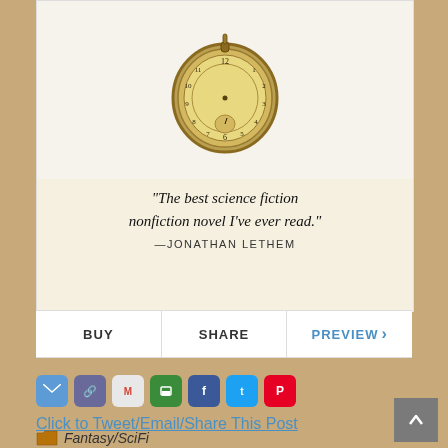[Figure (photo): Antique gold pocket watch with Roman/Arabic numeral face on white background]
“The best science fiction nonfiction novel I’ve ever read.” —JONATHAN LETHEM
BUY   SHARE   PREVIEW ›
[Figure (infographic): Social share icons: email, link, Gmail, print, Facebook, Twitter, Pinterest]
Click to Tweet/Email/Share This Post
Fantasy/SciFi